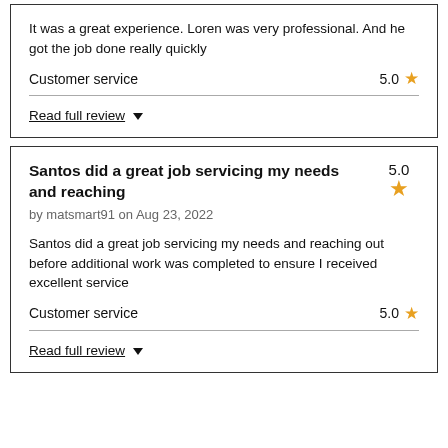It was a great experience. Loren was very professional. And he got the job done really quickly
Customer service   5.0 ★
Read full review ▼
Santos did a great job servicing my needs and reaching   5.0 ★
by matsmart91 on Aug 23, 2022
Santos did a great job servicing my needs and reaching out before additional work was completed to ensure I received excellent service
Customer service   5.0 ★
Read full review ▼